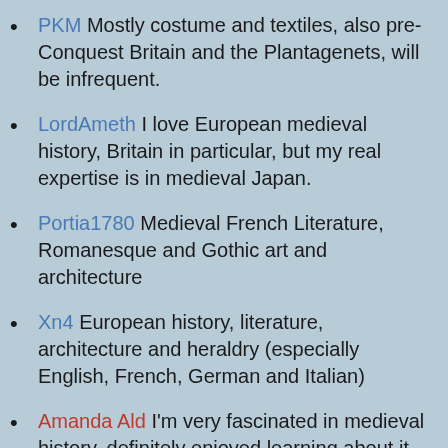PKM Mostly costume and textiles, also pre-Conquest Britain and the Plantagenets, will be infrequent.
LordAmeth I love European medieval history, Britain in particular, but my real expertise is in medieval Japan.
Portia1780 Medieval French Literature, Romanesque and Gothic art and architecture
Xn4 European history, literature, architecture and heraldry (especially English, French, German and Italian)
Amanda Ald I'm very fascinated in medieval history, definitely enjoyed learning about it this year, the black death (clipped)